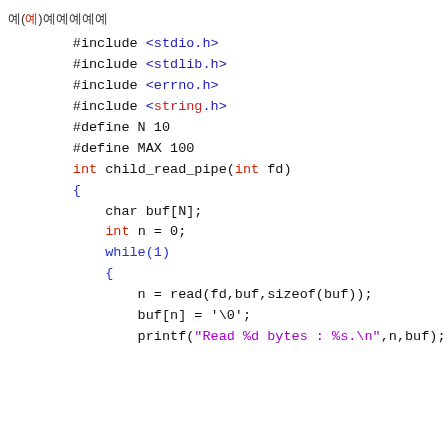예(예)예예예예예
#include <stdio.h>
#include <stdlib.h>
#include <errno.h>
#include <string.h>

#define N 10
#define MAX 100

int child_read_pipe(int fd)
{
    char buf[N];
    int n = 0;

    while(1)
    {
        n = read(fd,buf,sizeof(buf));
        buf[n] = '\0';

        printf("Read %d bytes : %s.\n",n,buf);